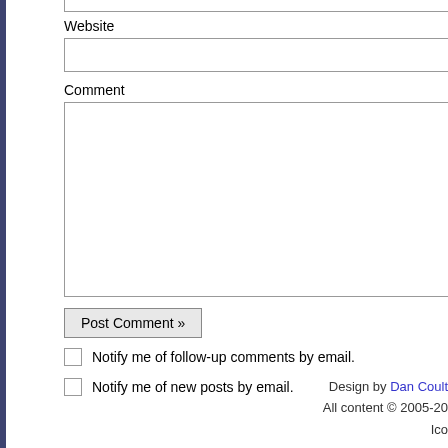Website
Comment
Post Comment »
Notify me of follow-up comments by email.
Notify me of new posts by email.
Design by Dan Coult
All content © 2005-20
Ico